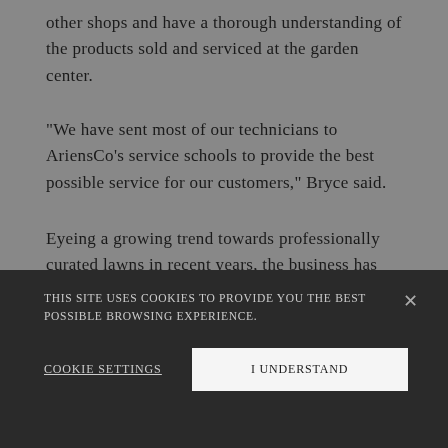other shops and have a thorough understanding of the products sold and serviced at the garden center.
“We have sent most of our technicians to AriensCo’s service schools to provide the best possible service for our customers,” Bryce said.
Eyeing a growing trend towards professionally curated lawns in recent years, the business has increasingly
THIS SITE USES COOKIES TO PROVIDE YOU THE BEST POSSIBLE BROWSING EXPERIENCE.
Cookie Settings
I Understand